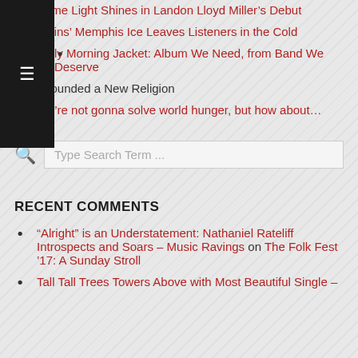Some Light Shines in Landon Lloyd Miller's Debut
Atkins' Memphis Ice Leaves Listeners in the Cold
My Morning Jacket: Album We Need, from Band We Deserve
I Founded a New Religion
We're not gonna solve world hunger, but how about...
[Figure (other): Search bar with magnifying glass icon and placeholder text 'Type Search Term ...']
RECENT COMMENTS
“Alright” is an Understatement: Nathaniel Rateliff Introspects and Soars – Music Ravings on The Folk Fest ’17: A Sunday Stroll
Tall Tall Trees Towers Above with Most Beautiful Single –